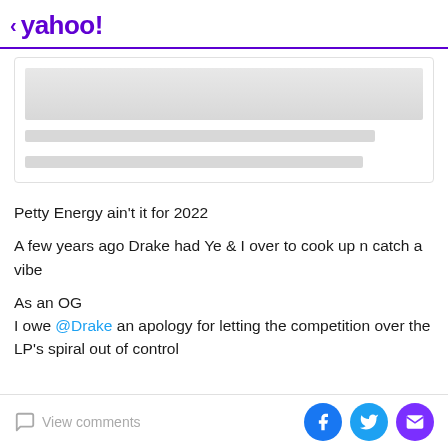< yahoo!
[Figure (other): Placeholder card with image skeleton and two text skeleton lines]
Petty Energy ain't it for 2022
A few years ago Drake had Ye & I over to cook up n catch a vibe
As an OG
I owe @Drake an apology for letting the competition over the LP's spiral out of control
View comments  [Facebook] [Twitter] [Mail]